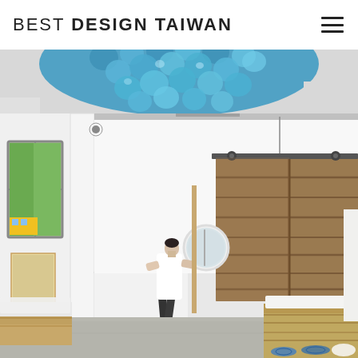BEST DESIGN TAIWAN
[Figure (photo): Interior design photo showing a white open space with a large blue bubble/glass ceiling installation, a person walking through the space, wooden barn sliding doors, white columns with arched ceiling, pallet-style furniture/beds, and a circular mirror on the wall.]